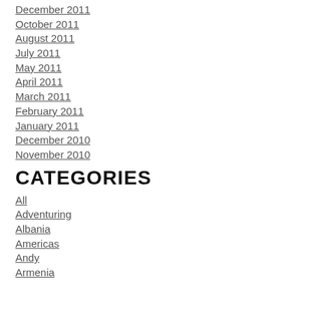December 2011
October 2011
August 2011
July 2011
May 2011
April 2011
March 2011
February 2011
January 2011
December 2010
November 2010
CATEGORIES
All
Adventuring
Albania
Americas
Andy
Armenia